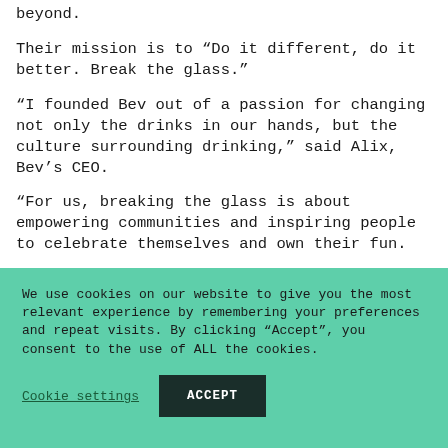beyond.
Their mission is to “Do it different, do it better. Break the glass.”
“I founded Bev out of a passion for changing not only the drinks in our hands, but the culture surrounding drinking,” said Alix, Bev’s CEO.
“For us, breaking the glass is about empowering communities and inspiring people to celebrate themselves and own their fun.
We use cookies on our website to give you the most relevant experience by remembering your preferences and repeat visits. By clicking “Accept”, you consent to the use of ALL the cookies.
Cookie settings
ACCEPT